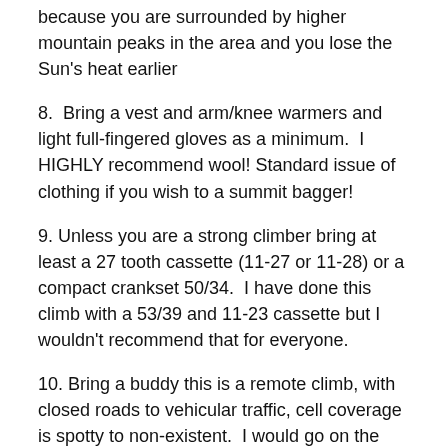because you are surrounded by higher mountain peaks in the area and you lose the Sun's heat earlier
8.  Bring a vest and arm/knee warmers and light full-fingered gloves as a minimum.  I HIGHLY recommend wool! Standard issue of clothing if you wish to a summit bagger!
9. Unless you are a strong climber bring at least a 27 tooth cassette (11-27 or 11-28) or a compact crankset 50/34.  I have done this climb with a 53/39 and 11-23 cassette but I wouldn't recommend that for everyone.
10. Bring a buddy this is a remote climb, with closed roads to vehicular traffic, cell coverage is spotty to non-existent.  I would go on the assumption that there's isn't cell coverage.    Wildlife can and should be expected such as